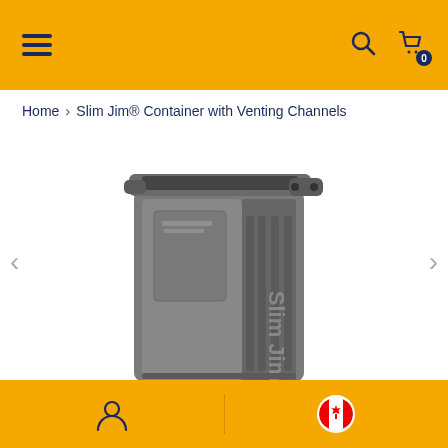Navigation header with hamburger menu, search icon, and cart icon with badge 0
Home > Slim Jim® Container with Venting Channels
[Figure (photo): Slim Jim container with venting channels — a tall, narrow grey plastic trash can with integrated side handles and embossed Slim Jim branding, shown at a 3/4 angle with carousel navigation arrows on left and right]
Footer with user account icon and Canadian flag icon